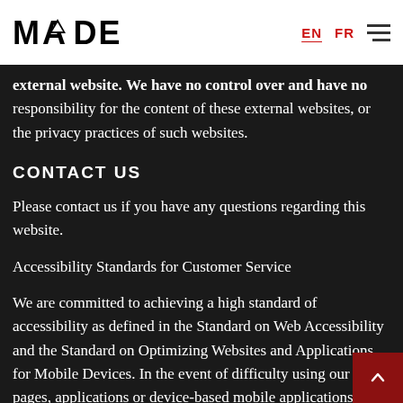MADE | EN | FR
external website. We have no control over and have no responsibility for the content of these external websites, or the privacy practices of such websites.
CONTACT US
Please contact us if you have any questions regarding this website.
Accessibility Standards for Customer Service
We are committed to achieving a high standard of accessibility as defined in the Standard on Web Accessibility and the Standard on Optimizing Websites and Applications for Mobile Devices. In the event of difficulty using our web pages, applications or device-based mobile applications, contact us for assistance or to obtain alternative formats such as regular print